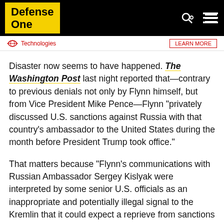Defense One
[Figure (screenshot): Advertisement bar with 'Technologies' text and a red-bordered button]
Disaster now seems to have happened. The Washington Post last night reported that—contrary to previous denials not only by Flynn himself, but from Vice President Mike Pence—Flynn "privately discussed U.S. sanctions against Russia with that country's ambassador to the United States during the month before President Trump took office."
That matters because "Flynn's communications with Russian Ambassador Sergey Kislyak were interpreted by some senior U.S. officials as an inappropriate and potentially illegal signal to the Kremlin that it could expect a reprieve from sanctions that were being imposed by the Obama administration in late December to punish Russia for its alleged interference